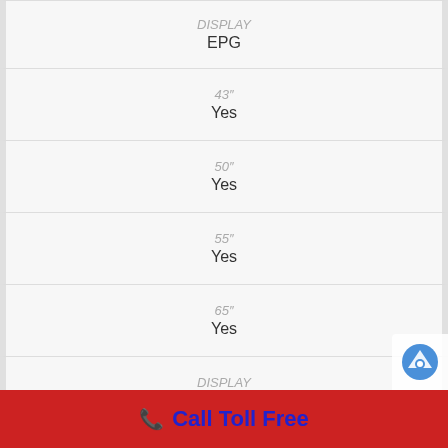| DISPLAY | EPG |
| 43″ | Yes |
| 50″ | Yes |
| 55″ | Yes |
| 65″ | Yes |
| DISPLAY | Digital Clean View |